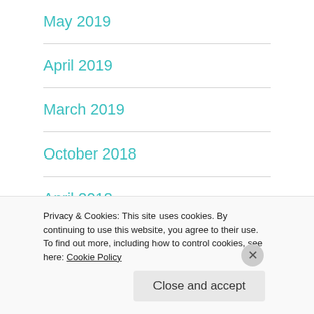May 2019
April 2019
March 2019
October 2018
April 2018
March 2018
Privacy & Cookies: This site uses cookies. By continuing to use this website, you agree to their use.
To find out more, including how to control cookies, see here: Cookie Policy
Close and accept